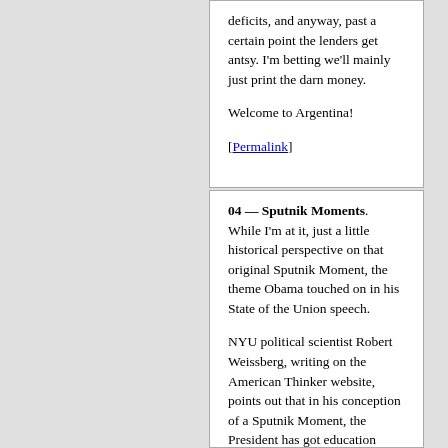deficits, and anyway, past a certain point the lenders get antsy. I'm betting we'll mainly just print the darn money.

Welcome to Argentina!

[Permalink]
04 — Sputnik Moments. While I'm at it, just a little historical perspective on that original Sputnik Moment, the theme Obama touched on in his State of the Union speech.

NYU political scientist Robert Weissberg, writing on the American Thinker website, points out that in his conception of a Sputnik Moment, the President has got education policy bass-ackwards.

The main outcome of the actual Sputnik Moment back in 1957 was